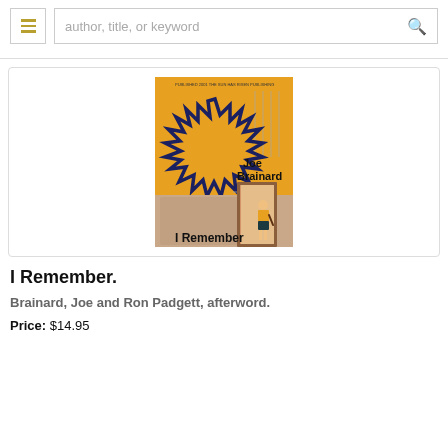author, title, or keyword
[Figure (illustration): Book cover of 'I Remember' by Joe Brainard. Orange/yellow background with a large spiky sun burst shape outlined in dark blue/navy. Lower portion shows a child in a yellow shirt and dark shorts walking through a doorway. Text on cover reads 'Joe Brainard' and 'I Remember'.]
I Remember.
Brainard, Joe and Ron Padgett, afterword.
Price: $14.95